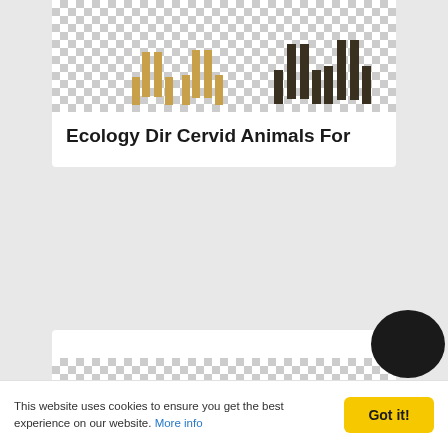[Figure (illustration): Checker pattern background with animal (cervid/deer) silhouettes partially visible at top]
Ecology Dir Cervid Animals For
[Figure (illustration): Large checker pattern background placeholder image]
Loweredlifestyle Used Car
This website uses cookies to ensure you get the best experience on our website. More info
Got it!